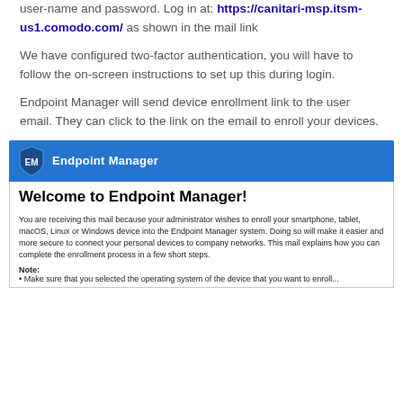user-name and password. Log in at: https://canitari-msp.itsm-us1.comodo.com/ as shown in the mail link
We have configured two-factor authentication, you will have to follow the on-screen instructions to set up this during login.
Endpoint Manager will send device enrollment link to the user email. They can click to the link on the email to enroll your devices.
[Figure (screenshot): Screenshot of an Endpoint Manager welcome email. Header bar is blue with EM shield icon and 'Endpoint Manager' title. Body shows bold heading 'Welcome to Endpoint Manager!' followed by paragraph text explaining enrollment, then a Note section partially cut off.]